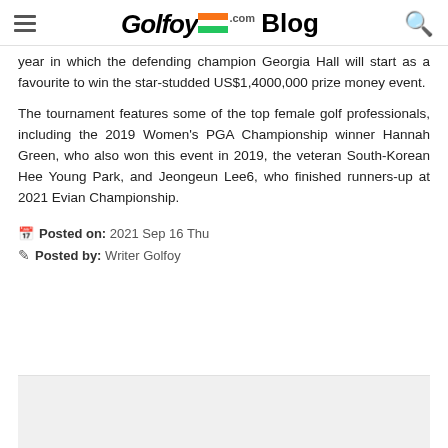Golfoy.com Blog
year in which the defending champion Georgia Hall will start as a favourite to win the star-studded US$1,4000,000 prize money event.
The tournament features some of the top female golf professionals, including the 2019 Women's PGA Championship winner Hannah Green, who also won this event in 2019, the veteran South-Korean Hee Young Park, and Jeongeun Lee6, who finished runners-up at 2021 Evian Championship.
Posted on: 2021 Sep 16 Thu
Posted by: Writer Golfoy
[Figure (photo): Bottom image area, light gray background, partially visible]